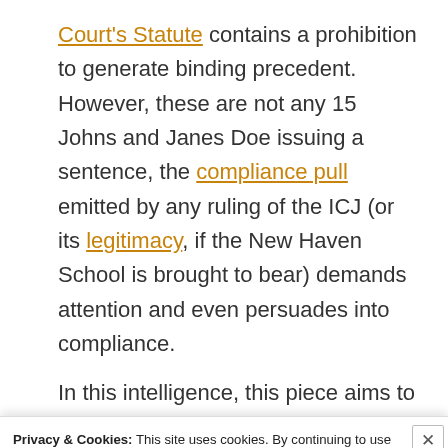Court's Statute contains a prohibition to generate binding precedent. However, these are not any 15 Johns and Janes Doe issuing a sentence, the compliance pull emitted by any ruling of the ICJ (or its legitimacy, if the New Haven School is brought to bear) demands attention and even persuades into compliance.
In this intelligence, this piece aims to highlight
Privacy & Cookies: This site uses cookies. By continuing to use this website, you agree to their use.
To find out more, including how to control cookies, see here: Cookie Policy